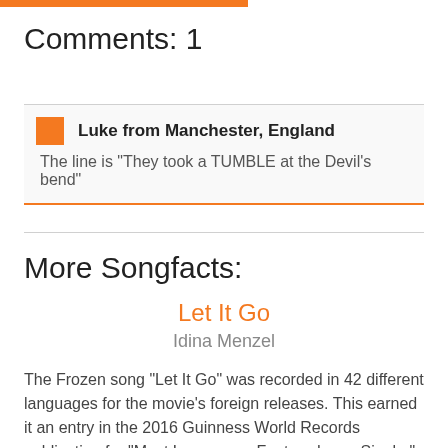Comments: 1
Luke from Manchester, England
The line is "They took a TUMBLE at the Devil's bend"
More Songfacts:
Let It Go
Idina Menzel
The Frozen song "Let It Go" was recorded in 42 different languages for the movie's foreign releases. This earned it an entry in the 2016 Guinness World Records publication for "Most Languages Featured on a Single."